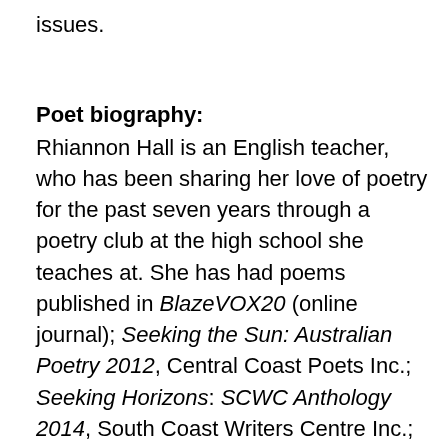issues.
Poet biography:
Rhiannon Hall is an English teacher, who has been sharing her love of poetry for the past seven years through a poetry club at the high school she teaches at. She has had poems published in BlazeVOX20 (online journal); Seeking the Sun: Australian Poetry 2012, Central Coast Poets Inc.; Seeking Horizons: SCWC Anthology 2014, South Coast Writers Centre Inc.; and Cordite Poetry Review. Rhiannon has also published an essay in Axon: Creative Explorations (online journal). She enjoys workshopping her poetry with a group of Southern Highlands poets. Rhiannon is currently undertaking a Doctor of Creative Arts at Western Sydney